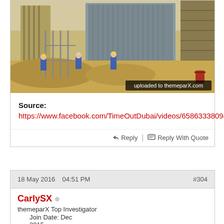[Figure (photo): Construction site photo showing workers in blue uniforms and hard hats at a large building site with scaffolding and sandy ground. Watermark reads 'uploaded to themeparX.com']
Source:
https://www.facebook.com/TimeOutDubai/videos/658633380941757/
Reply | Reply With Quote
18 May 2016   04:51 PM   #304
CarlySX
themeparX Top Investigator
Join Date: Dec
2015